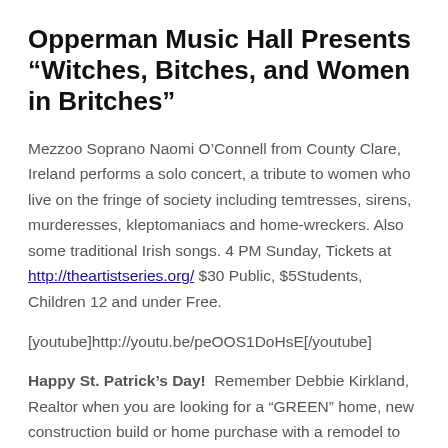Opperman Music Hall Presents “Witches, Bitches, and Women in Britches”
Mezzoo Soprano Naomi O’Connell from County Clare, Ireland performs a solo concert, a tribute to women who live on the fringe of society including temtresses, sirens, murderesses, kleptomaniacs and home-wreckers. Also some traditional Irish songs. 4 PM Sunday, Tickets at http://theartistseries.org/ $30 Public, $5Students, Children 12 and under Free.
[youtube]http://youtu.be/peOOS1DoHsE[/youtube]
Happy St. Patrick’s Day!  Remember Debbie Kirkland, Realtor when you are looking for a "GREEN" home, new construction build or home purchase with a remodel to sustainable standards and earth-friendly practices. Search